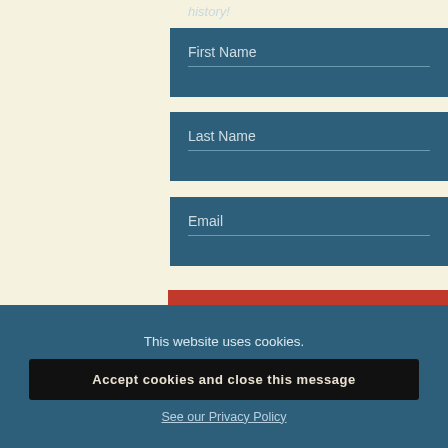history!
First Name
Last Name
Email
SIGN ME UP!
This website uses cookies.
Accept cookies and close this message
See our Privacy Policy